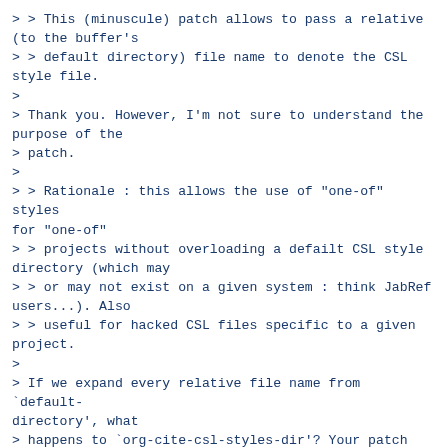> > This (minuscule) patch allows to pass a relative (to the buffer's
> > default directory) file name to denote the CSL style file.
>
> Thank you. However, I'm not sure to understand the purpose of the
> patch.
>
> > Rationale : this allows the use of "one-of" styles for "one-of"
> > projects without overloading a defailt CSL style directory (which may
> > or may not exist on a given system : think JabRef users...). Also
> > useful for hacked CSL files specific to a given project.
>
> If we expand every relative file name from `default-directory', what
> happens to `org-cite-csl-styles-dir'? Your patch makes this variable
> useless, doesn't it?

This can be useful to be able, for example, to use a one-off style for
a given exporter while keeping a standard one for another exporter (e.
g. a one-off exporter for a journal with complicated bibliographic